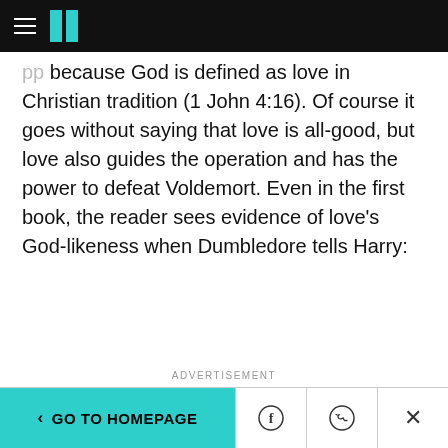HuffPost navigation header with hamburger menu and logo
because God is defined as love in Christian tradition (1 John 4:16). Of course it goes without saying that love is all-good, but love also guides the operation and has the power to defeat Voldemort. Even in the first book, the reader sees evidence of love's God-likeness when Dumbledore tells Harry:
ADVERTISEMENT
[Figure (screenshot): Empire Financial Research advertisement banner with logo and image of a person]
< GO TO HOMEPAGE | Facebook share | Twitter share | Close